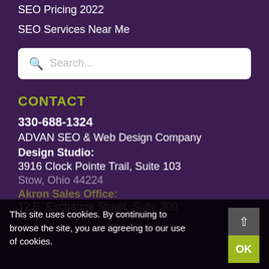SEO Pricing 2022
SEO Services Near Me
[Figure (other): Search bar with magnifying glass icon and placeholder text 'Search...']
CONTACT
330-688-1324
ADVAN SEO & Web Design Company
Design Studio:
3916 Clock Pointe Trail, Suite 103
Stow, Ohio 44224
Akron Sales Office:
12 E. Exchange Street, Suite 300
This site uses cookies. By continuing to browse the site, you are agreeing to our use of cookies.